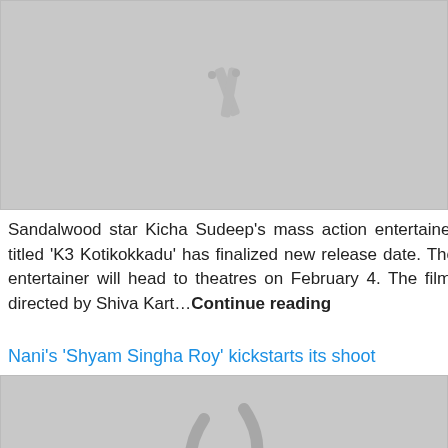[Figure (illustration): Gray placeholder image with film strip icons at top]
Sandalwood star Kicha Sudeep's mass action entertainer titled 'K3 Kotikokkadu' has finalized new release date. The entertainer will head to theatres on February 4. The film, directed by Shiva Kart...Continue reading
Nani's 'Shyam Singha Roy' kickstarts its shoot
[Figure (illustration): Gray placeholder image with film strip icons, logo badge bottom-left, up arrow button bottom-right]